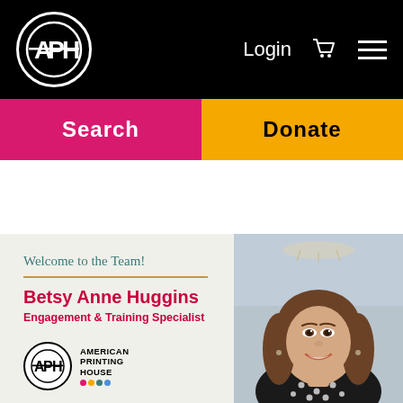APH logo, Login, cart icon, menu icon navigation bar
Search
Donate
[Figure (photo): Profile card with text 'Welcome to the Team!' and 'Betsy Anne Huggins, Engagement & Training Specialist' alongside APH logo, and a photo of Betsy Anne Huggins, a young woman with brown shoulder-length hair, smiling, wearing a black polka-dot blouse]
Welcome to the Team!
Betsy Anne Huggins
Engagement & Training Specialist
AMERICAN PRINTING HOUSE